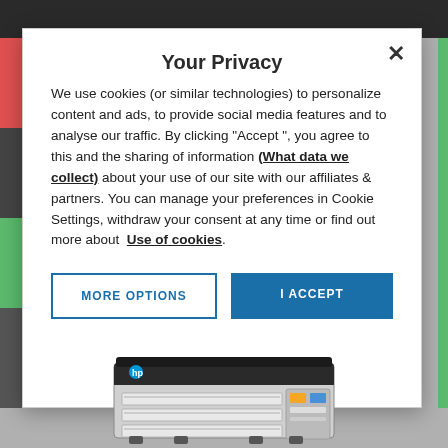Your Privacy
We use cookies (or similar technologies) to personalize content and ads, to provide social media features and to analyse our traffic. By clicking "Accept ", you agree to this and the sharing of information (What data we collect) about your use of our site with our affiliates & partners. You can manage your preferences in Cookie Settings, withdraw your consent at any time or find out more about Use of cookies.
[Figure (screenshot): Cookie consent modal dialog with 'MORE OPTIONS' and 'I ACCEPT' buttons, overlaying an HP printer webpage]
[Figure (photo): HP large-format printer shown below the modal dialog]